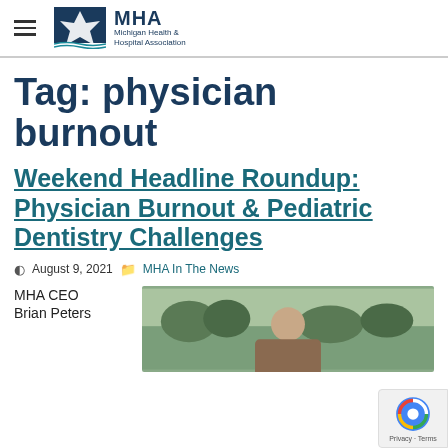MHA Michigan Health & Hospital Association
Tag: physician burnout
Weekend Headline Roundup: Physician Burnout & Pediatric Dentistry Challenges
August 9, 2021   MHA In The News
MHA CEO Brian Peters
[Figure (photo): Photo of MHA CEO Brian Peters]